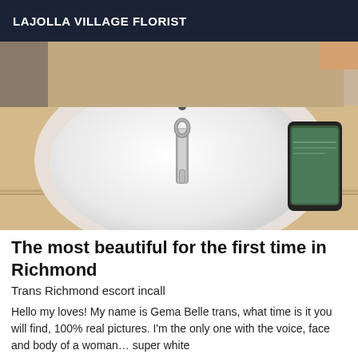LAJOLLA VILLAGE FLORIST
[Figure (photo): Close-up photo of a white oval bathroom sink with a chrome faucet, set in a beige/tan countertop. A smartphone is visible on the right edge of the counter.]
The most beautiful for the first time in Richmond
Trans Richmond escort incall
Hello my loves! My name is Gema Belle trans, what time is it you will find, 100% real pictures. I'm the only one with the voice, face and body of a woman… super white